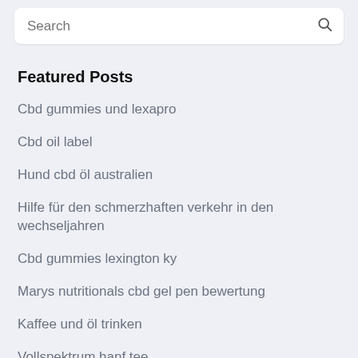[Figure (screenshot): Search bar with placeholder text 'Search' and a magnifying glass icon on the right]
Featured Posts
Cbd gummies und lexapro
Cbd oil label
Hund cbd öl australien
Hilfe für den schmerzhaften verkehr in den wechseljahren
Cbd gummies lexington ky
Marys nutritionals cbd gel pen bewertung
Kaffee und öl trinken
Vollspektrum hanf tee